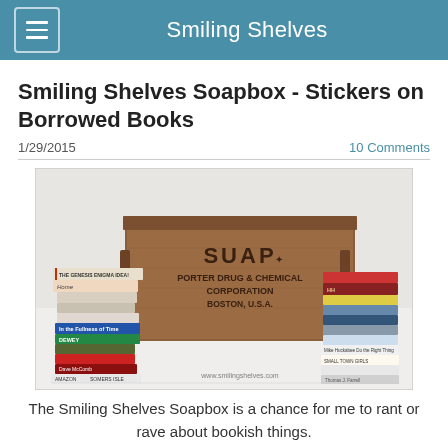Smiling Shelves
Smiling Shelves Soapbox - Stickers on Borrowed Books
1/29/2015
10 Comments
[Figure (photo): A wooden soap crate labeled 'SUAP – Porter Drug & Chemical Corporation, Boston, U.S.A.' surrounded by stacks of books on both sides. Website watermark reads www.smilingshelves.com]
The Smiling Shelves Soapbox is a chance for me to rant or rave about bookish things.